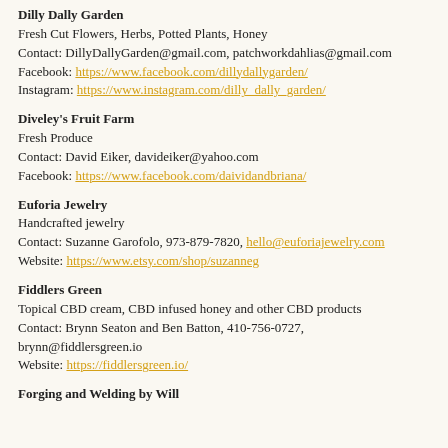Dilly Dally Garden
Fresh Cut Flowers, Herbs, Potted Plants, Honey
Contact: DillyDallyGarden@gmail.com, patchworkdahlias@gmail.com
Facebook: https://www.facebook.com/dillydallygarden/
Instagram: https://www.instagram.com/dilly_dally_garden/
Diveley's Fruit Farm
Fresh Produce
Contact: David Eiker, davideiker@yahoo.com
Facebook: https://www.facebook.com/daividandbriana/
Euforia Jewelry
Handcrafted jewelry
Contact: Suzanne Garofolo, 973-879-7820, hello@euforiajewelry.com
Website: https://www.etsy.com/shop/suzanneg
Fiddlers Green
Topical CBD cream, CBD infused honey and other CBD products
Contact: Brynn Seaton and Ben Batton, 410-756-0727, brynn@fiddlersgreen.io
Website: https://fiddlersgreen.io/
Forging and Welding by Will